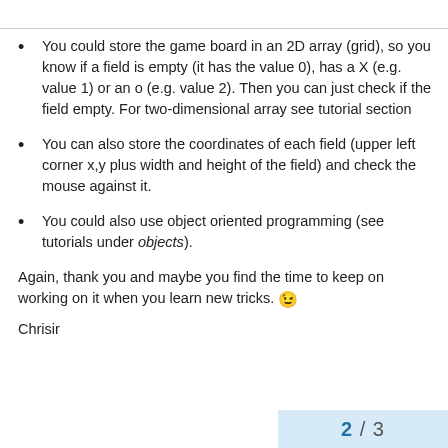You could store the game board in an 2D array (grid), so you know if a field is empty (it has the value 0), has a X (e.g. value 1) or an o (e.g. value 2). Then you can just check if the field empty. For two-dimensional array see tutorial section
You can also store the coordinates of each field (upper left corner x,y plus width and height of the field) and check the mouse against it.
You could also use object oriented programming (see tutorials under objects).
Again, thank you and maybe you find the time to keep on working on it when you learn new tricks. 😉
Chrisir
2 / 3